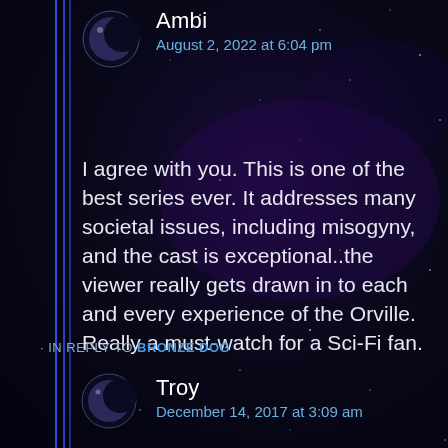[Figure (illustration): Dark space/night sky background with stars and purple nebula glow, with vertical blue lines on left side]
Ambi
August 2, 2022 at 6:04 pm
I agree with you. This is one of the best series ever. It addresses many societal issues, including misogyny, and the cast is exceptional..the viewer really gets drawn in to each and every experience of the Orville. Really a must-watch for a Sci-Fi fan.
IN REPLY TO BRONZE DOG
Troy
December 14, 2017 at 3:09 am